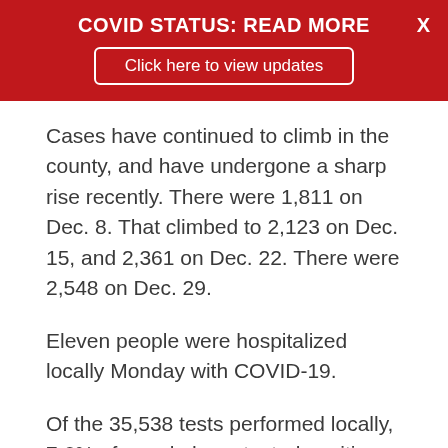COVID STATUS: READ MORE
Click here to view updates
Cases have continued to climb in the county, and have undergone a sharp rise recently. There were 1,811 on Dec. 8. That climbed to 2,123 on Dec. 15, and 2,361 on Dec. 22. There were 2,548 on Dec. 29.
Eleven people were hospitalized locally Monday with COVID-19.
Of the 35,538 tests performed locally, 7.6% of people have tested positive.
Nationwide, there were 20,558,480 total cases